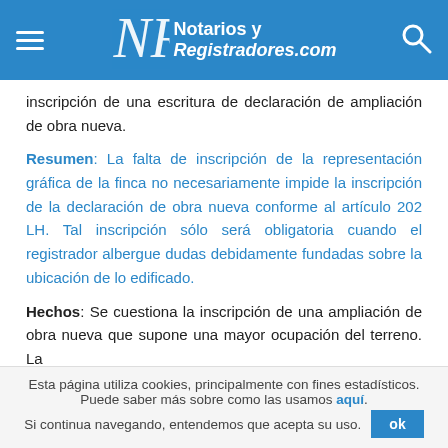Notarios y Registradores.com
inscripción de una escritura de declaración de ampliación de obra nueva.
Resumen: La falta de inscripción de la representación gráfica de la finca no necesariamente impide la inscripción de la declaración de obra nueva conforme al artículo 202 LH. Tal inscripción sólo será obligatoria cuando el registrador albergue dudas debidamente fundadas sobre la ubicación de lo edificado.
Hechos: Se cuestiona la inscripción de una ampliación de obra nueva que supone una mayor ocupación del terreno. La
Esta página utiliza cookies, principalmente con fines estadísticos. Puede saber más sobre como las usamos aquí. Si continua navegando, entendemos que acepta su uso. ok